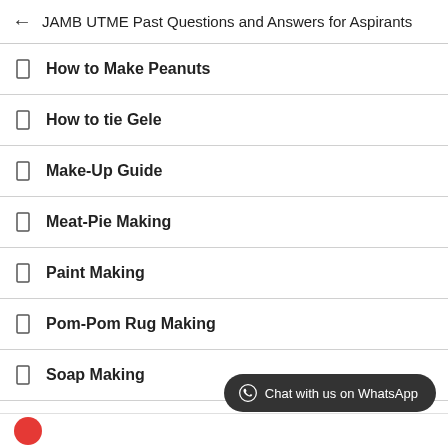← JAMB UTME Past Questions and Answers for Aspirants
How to Make Peanuts
How to tie Gele
Make-Up Guide
Meat-Pie Making
Paint Making
Pom-Pom Rug Making
Soap Making
Chat with us on WhatsApp